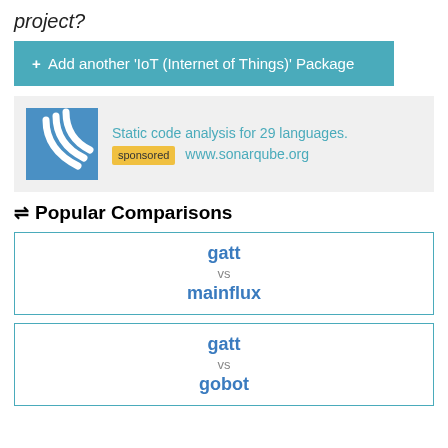project?
+ Add another 'IoT (Internet of Things)' Package
[Figure (infographic): Advertisement box with SonarQube logo (blue square with white wave lines), text: 'Static code analysis for 29 languages.' with a yellow 'sponsored' badge and 'www.sonarqube.org']
⇌ Popular Comparisons
gatt vs mainflux
gatt vs gobot